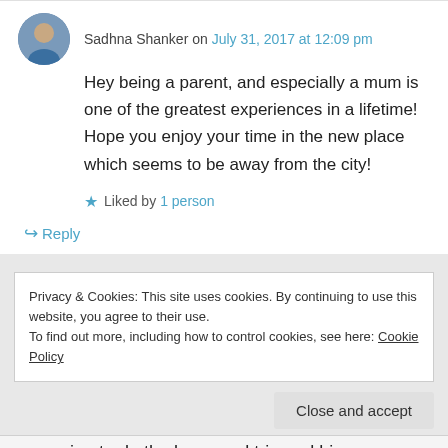Sadhna Shanker on July 31, 2017 at 12:09 pm
Hey being a parent, and especially a mum is one of the greatest experiences in a lifetime! Hope you enjoy your time in the new place which seems to be away from the city!
Liked by 1 person
↳ Reply
Privacy & Cookies: This site uses cookies. By continuing to use this website, you agree to their use.
To find out more, including how to control cookies, see here: Cookie Policy
Close and accept
preparing to do the long road trip and big